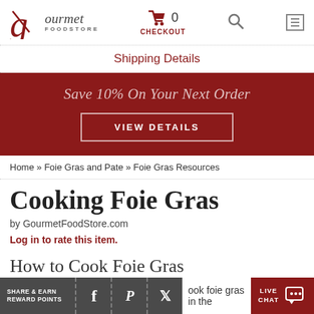Gourmet FoodStore — 0 CHECKOUT [search] [menu]
Shipping Details
[Figure (infographic): Dark red promotional banner reading 'Save 10% On Your Next Order' with a 'VIEW DETAILS' button]
Home » Foie Gras and Pate » Foie Gras Resources
Cooking Foie Gras
by GourmetFoodStore.com
Log in to rate this item.
How to Cook Foie Gras
ook foie gras in the
SHARE & EARN REWARD POINTS [Facebook] [Pinterest] [Twitter] | ook foie gras in the | LIVE CHAT